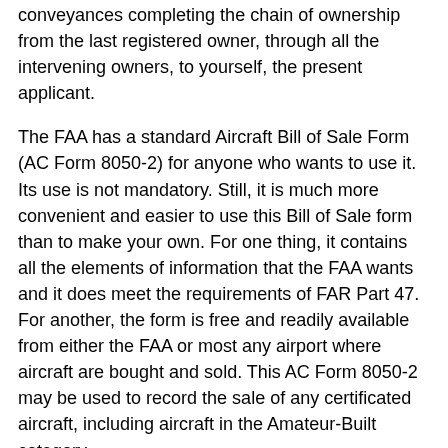conveyances completing the chain of ownership from the last registered owner, through all the intervening owners, to yourself, the present applicant.
The FAA has a standard Aircraft Bill of Sale Form (AC Form 8050-2) for anyone who wants to use it. Its use is not mandatory. Still, it is much more convenient and easier to use this Bill of Sale form than to make your own. For one thing, it contains all the elements of information that the FAA wants and it does meet the requirements of FAR Part 47. For another, the form is free and readily available from either the FAA or most any airport where aircraft are bought and sold. This AC Form 8050-2 may be used to record the sale of any certificated aircraft, including aircraft in the Amateur-Built category.
One more note. As the buyer, you are the one who must assume the responsibility for sending the original copy (signed in ink) to the FAA Aircraft Registry!